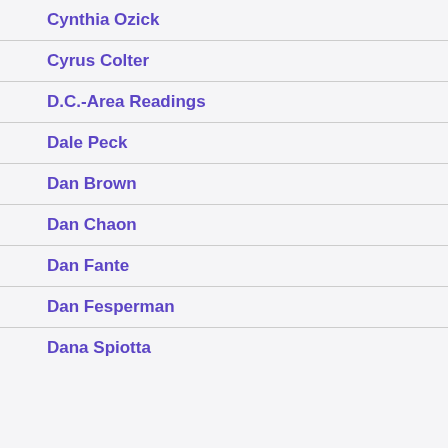Cynthia Ozick
Cyrus Colter
D.C.-Area Readings
Dale Peck
Dan Brown
Dan Chaon
Dan Fante
Dan Fesperman
Dana Spiotta